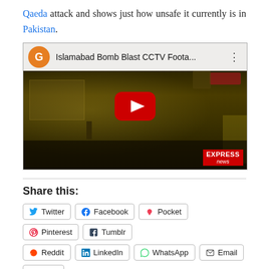Qaeda attack and shows just how unsafe it currently is in Pakistan.
[Figure (screenshot): YouTube video thumbnail showing 'Islamabad Bomb Blast CCTV Foota...' with a CCTV footage still from Express News, featuring a YouTube play button overlay.]
Share this:
Twitter
Facebook
Pocket
Pinterest
Tumblr
Reddit
LinkedIn
WhatsApp
Email
Print